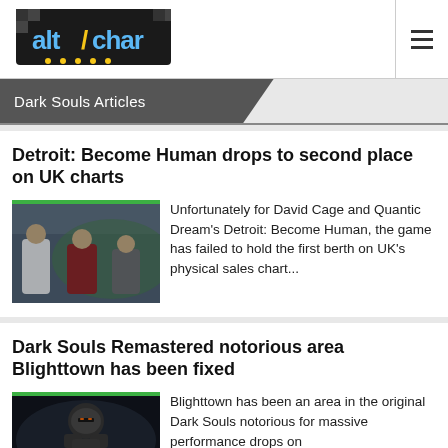[Figure (logo): AltChar logo — pixelated game-controller style lettering in blue and yellow on dark background]
Dark Souls Articles
Detroit: Become Human drops to second place on UK charts
[Figure (photo): Photo of football/soccer players in a crowd scene]
Unfortunately for David Cage and Quantic Dream's Detroit: Become Human, the game has failed to hold the first berth on UK's physical sales chart...
Dark Souls Remastered notorious area Blighttown has been fixed
[Figure (photo): Dark Souls Remastered screenshot showing armored character in dark environment]
Blighttown has been an area in the original Dark Souls notorious for massive performance drops on